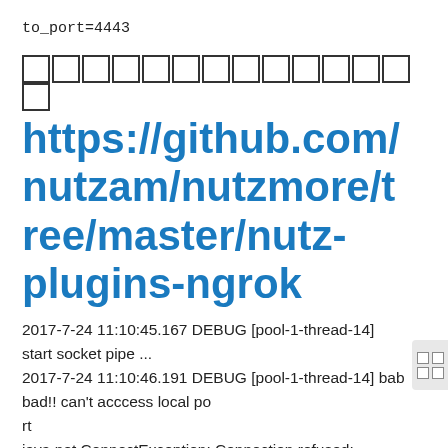to_port=4443
[Figure (other): Row of CJK character placeholder boxes (approximately 14 outlined squares)]
https://github.com/nutzam/nutzmore/tree/master/nutz-plugins-ngrok
2017-7-24 11:10:45.167 DEBUG [pool-1-thread-14] start socket pipe ...
2017-7-24 11:10:46.191 DEBUG [pool-1-thread-14] bab bad!! can't acccess local po rt
java.net.ConnectException: Connection refused: connect